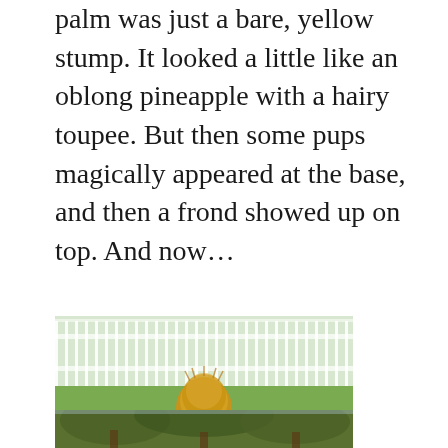palm was just a bare, yellow stump. It looked a little like an oblong pineapple with a hairy toupee. But then some pups magically appeared at the base, and then a frond showed up on top. And now...
[Figure (photo): A sago palm plant with a round golden-brown fuzzy top (new growth bud) and green fronds emerging at the base, planted in a circular brick edged garden bed on a green lawn with a white picket fence in the background.]
[Figure (photo): Partial view of trees and outdoor scenery, bottom of page cropped.]